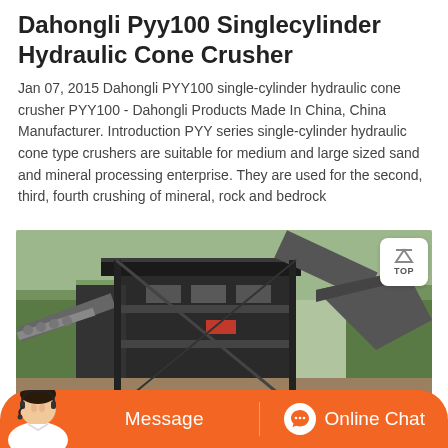Dahongli Pyy100 Singlecylinder Hydraulic Cone Crusher
Jan 07, 2015 Dahongli PYY100 single-cylinder hydraulic cone crusher PYY100 - Dahongli Products Made In China, China Manufacturer. Introduction PYY series single-cylinder hydraulic cone type crushers are suitable for medium and large sized sand and mineral processing enterprise. They are used for the second, third, fourth crushing of mineral, rock and bedrock
[Figure (photo): Photograph of a large industrial hydraulic cone crusher installation with conveyor belts and steel framework, set against a hillside with green trees.]